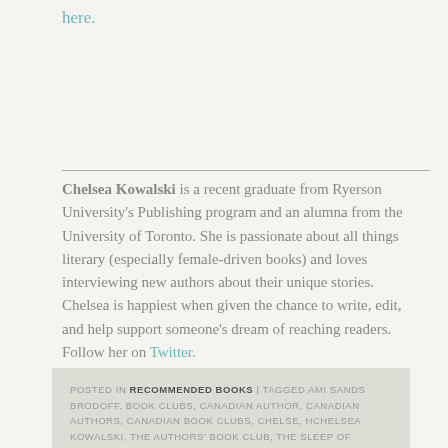here.
Chelsea Kowalski is a recent graduate from Ryerson University's Publishing program and an alumna from the University of Toronto. She is passionate about all things literary (especially female-driven books) and loves interviewing new authors about their unique stories. Chelsea is happiest when given the chance to write, edit, and help support someone's dream of reaching readers. Follow her on Twitter.
POSTED IN RECOMMENDED BOOKS | TAGGED AMI SANDS BRODOFF, BOOK CLUBS, CANADIAN AUTHOR, CANADIAN AUTHORS, CANADIAN BOOK CLUBS, CHELSE, HCHELSEA KOWALSKI, THE AUTHORS' BOOK CLUB, THE SLEEP OF APPLES